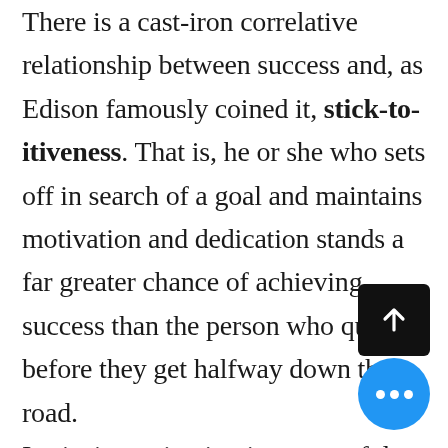There is a cast-iron correlative relationship between success and, as Edison famously coined it, stick-to-itiveness. That is, he or she who sets off in search of a goal and maintains motivation and dedication stands a far greater chance of achieving success than the person who quits before they get halfway down the road.
Intrinsic motivation is a powerful [force] that can help a person overcome even the most stubborn hurdles.